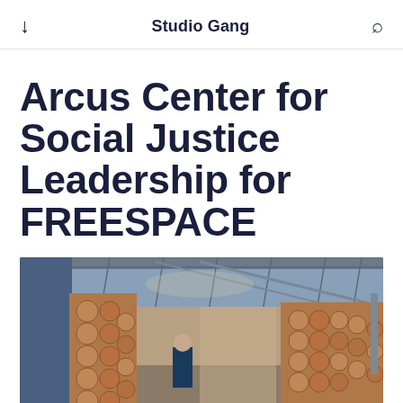↓  Studio Gang  🔍
Arcus Center for Social Justice Leadership for FREESPACE
[Figure (photo): Interior photograph of the Arcus Center for Social Justice Leadership installation at the Venice Architecture Biennale FREESPACE exhibition, showing sculptural log-end walls and industrial ceiling structure with a person walking through the space.]